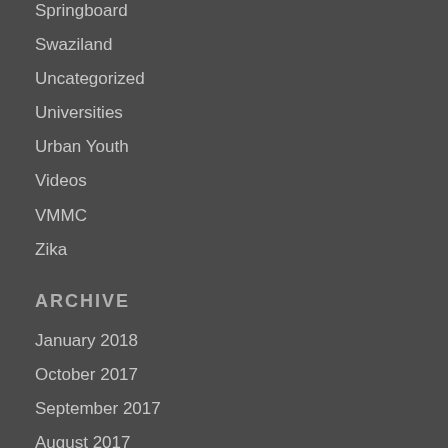Springboard
Swaziland
Uncategorized
Universities
Urban Youth
Videos
VMMC
Zika
ARCHIVE
January 2018
October 2017
September 2017
August 2017
July 2017